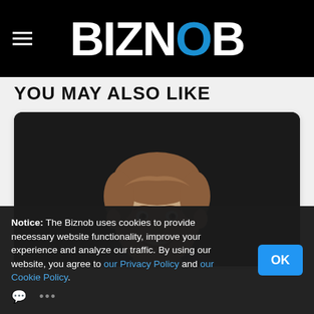BIZNOB
YOU MAY ALSO LIKE
[Figure (photo): Professional headshot of a young man with brown hair, smiling, wearing a dark blazer and light blue shirt, against a dark background. Displayed inside a white card/tablet frame.]
Notice: The Biznob uses cookies to provide necessary website functionality, improve your experience and analyze our traffic. By using our website, you agree to our Privacy Policy and our Cookie Policy.